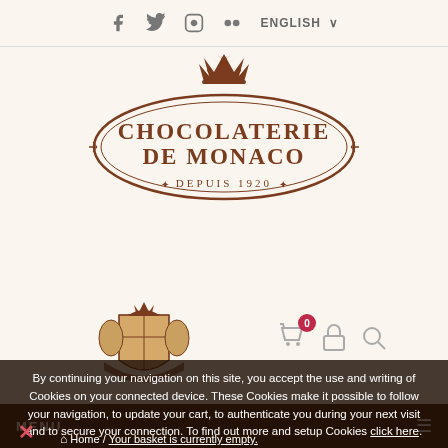f  twitter  instagram  flickr  ENGLISH
[Figure (logo): Chocolaterie de Monaco logo — oval ornate frame with crown, text CHOCOLATERIE DE MONACO DEPUIS 1920]
[Figure (logo): Royal coat of arms seal of Monaco with knights and shield]
By appointment to
HSH the Sovereign Prince of Monaco
[Figure (infographic): Shopping bag icon with badge showing 0, padlock icon, search/magnifying glass icon]
MENU
By continuing your navigation on this site, you accept the use and writing of Cookies on your connected device. These Cookies make it possible to follow your navigation, to update your cart, to authenticate you during your next visit and to secure your connection. To find out more and setup Cookies click here.
Home / Your basket is currently empty.